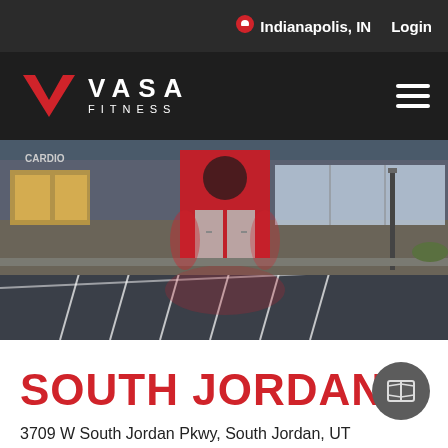Indianapolis, IN   Login
[Figure (logo): VASA FITNESS logo with red V chevron and white text]
[Figure (photo): Exterior photo of a VASA Fitness gym at dusk showing the storefront with red accents, large windows, and a parking lot in the foreground]
SOUTH JORDAN
3709 W South Jordan Pkwy, South Jordan, UT 84095